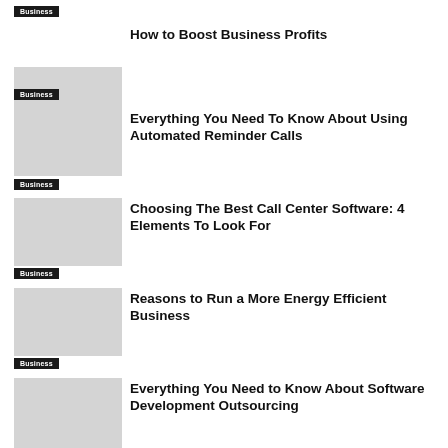Business
How to Boost Business Profits
Business
Everything You Need To Know About Using Automated Reminder Calls
Business
Choosing The Best Call Center Software: 4 Elements To Look For
Business
Reasons to Run a More Energy Efficient Business
Business
Everything You Need to Know About Software Development Outsourcing